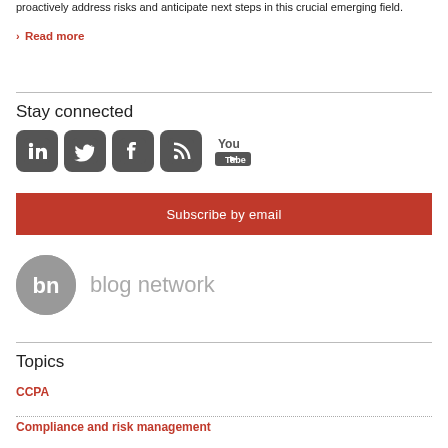proactively address risks and anticipate next steps in this crucial emerging field.
› Read more
Stay connected
[Figure (infographic): Social media icons: LinkedIn, Twitter, Facebook, RSS feed, YouTube]
Subscribe by email
[Figure (logo): bn blog network logo - grey circle with 'bn' initials, followed by text 'blog network']
Topics
CCPA
Compliance and risk management